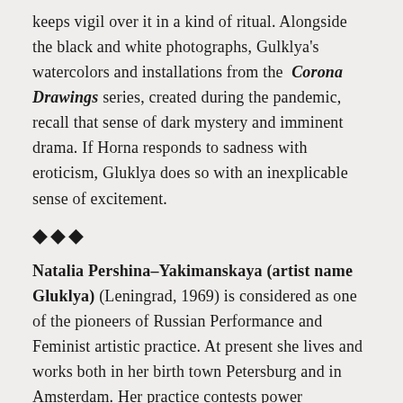keeps vigil over it in a kind of ritual. Alongside the black and white photographs, Gulklya's watercolors and installations from the Corona Drawings series, created during the pandemic, recall that sense of dark mystery and imminent drama. If Horna responds to sadness with eroticism, Gluklya does so with an inexplicable sense of excitement.
◆◆◆
Natalia Pershina–Yakimanskaya (artist name Gluklya) (Leningrad, 1969) is considered as one of the pioneers of Russian Performance and Feminist artistic practice. At present she lives and works both in her birth town Petersburg and in Amsterdam. Her practice contests power